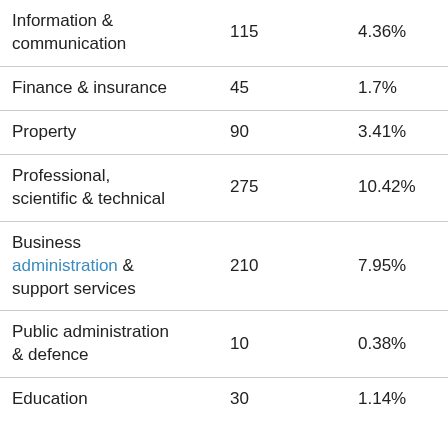| Information & communication | 115 | 4.36% |
| Finance & insurance | 45 | 1.7% |
| Property | 90 | 3.41% |
| Professional, scientific & technical | 275 | 10.42% |
| Business administration & support services | 210 | 7.95% |
| Public administration & defence | 10 | 0.38% |
| Education | 30 | 1.14% |